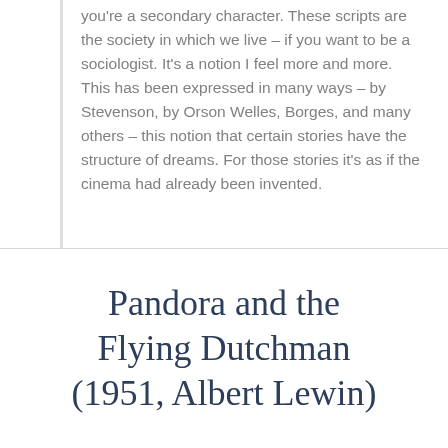you're a secondary character. These scripts are the society in which we live – if you want to be a sociologist. It's a notion I feel more and more. This has been expressed in many ways – by Stevenson, by Orson Welles, Borges, and many others – this notion that certain stories have the structure of dreams. For those stories it's as if the cinema had already been invented.
Pandora and the Flying Dutchman (1951, Albert Lewin)